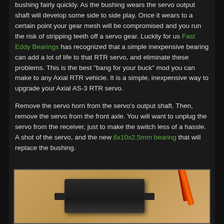bushing fairly quickly. As the bushing wears the servo output shaft will develop some side to side play. Once it wears to a certain point your gear mesh will be compromised and you run the risk of stripping teeth off a servo gear. Luckily for us Fast Eddy Bearings has recognized that a simple inexpensive bearing can add a lot of life to that RTR servo, and eliminate these problems. This is the best "bang for your buck" mod you can make to any Axial RTR vehicle. It is a simple, inexpensive way to upgrade your Axial AS-3 RTR servo.
Remove the servo horn from the servo's output shaft. Then, remove the servo from the front axle. You will want to unplug the servo from the receiver, just to make the switch less of a hassle. A shot of the servo, and the new 6x10x2.5mm bearing that will replace the bushing.
[Figure (photo): Photo of a black RC servo (Axial AS-3 RTR servo) with orange/red wires, sitting on a wooden/tan surface. The servo has mounting tabs on each side.]